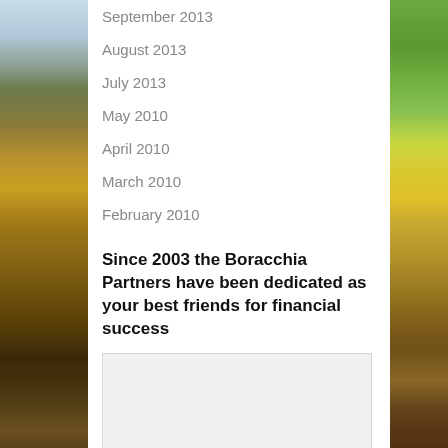September 2013
August 2013
July 2013
May 2010
April 2010
March 2010
February 2010
Since 2003 the Boracchia Partners have been dedicated as your best friends for financial success
[Figure (other): Empty gray widget box placeholder]